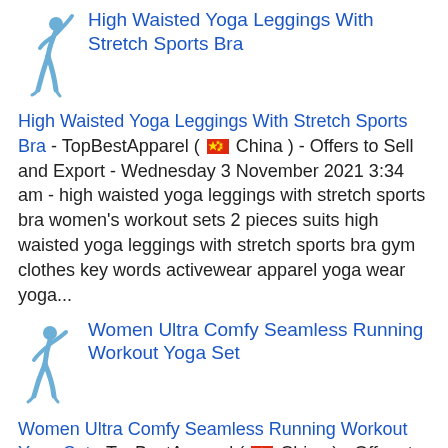[Figure (illustration): Small illustration of a woman in yoga/sportswear pose]
High Waisted Yoga Leggings With Stretch Sports Bra - TopBestApparel ( 🇨🇳 China ) - Offers to Sell and Export - Wednesday 3 November 2021 3:34 am - high waisted yoga leggings with stretch sports bra women's workout sets 2 pieces suits high waisted yoga leggings with stretch sports bra gym clothes key words activewear apparel yoga wear yoga...
[Figure (illustration): Small illustration of a woman in running/workout sportswear pose]
Women Ultra Comfy Seamless Running Workout Yoga Set - TopBestApparel ( 🇨🇳 China ) - Offers to Sell and Export - Wednesday 22 September 2021 3:34 am - women ultra comfy seamless running workout yoga set women ultra